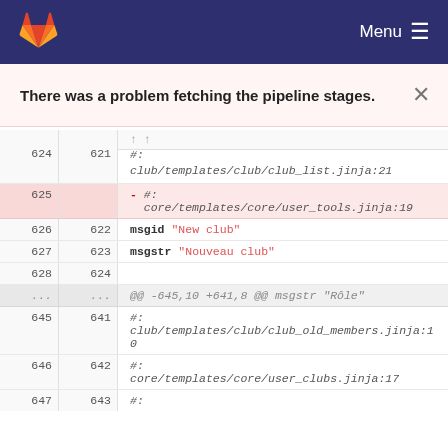GitLab — Menu
There was a problem fetching the pipeline stages.
| old | new | code |
| --- | --- | --- |
| 624 | 621 | #:
club/templates/club/club_list.jinja:21 |
| 625 |  | - #:
core/templates/core/user_tools.jinja:19 |
| 626 | 622 | msgid "New club" |
| 627 | 623 | msgstr "Nouveau club" |
| 628 | 624 |  |
| ... | ... | @@ -645,10 +641,8 @@ msgstr "Rôle" |
| 645 | 641 | #:
club/templates/club/club_old_members.jinja:10 |
| 646 | 642 | #:
core/templates/core/user_clubs.jinja:17 |
| 647 | 643 | #: |